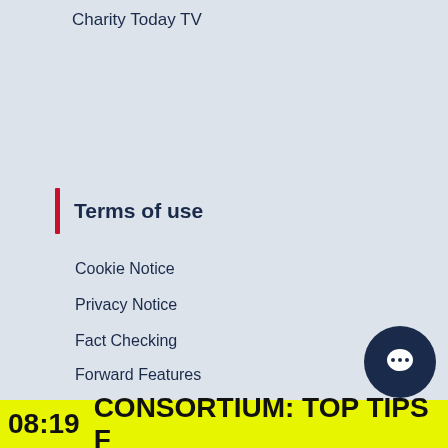Charity Today TV
Terms of use
Cookie Notice
Privacy Notice
Fact Checking
Forward Features
Useful Links
Supporter Portal
UK Charity Week
08:19  CONSORTIUM: TOP TIPS F